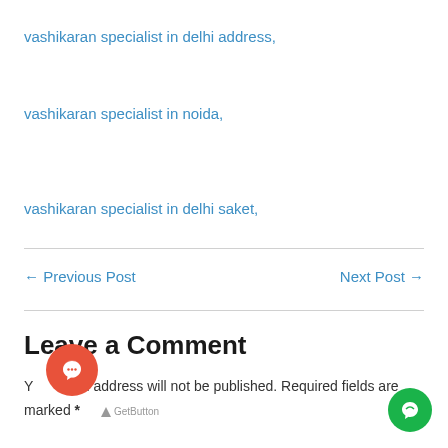vashikaran specialist in delhi address,
vashikaran specialist in noida,
vashikaran specialist in delhi saket,
← Previous Post
Next Post →
Leave a Comment
Your email address will not be published. Required fields are marked *